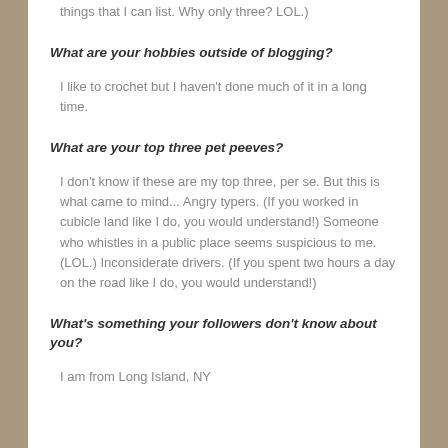things that I can list. Why only three? LOL.)
What are your hobbies outside of blogging?
I like to crochet but I haven't done much of it in a long time.
What are your top three pet peeves?
I don't know if these are my top three, per se. But this is what came to mind... Angry typers. (If you worked in cubicle land like I do, you would understand!) Someone who whistles in a public place seems suspicious to me. (LOL.) Inconsiderate drivers. (If you spent two hours a day on the road like I do, you would understand!)
What's something your followers don't know about you?
I am from Long Island, NY